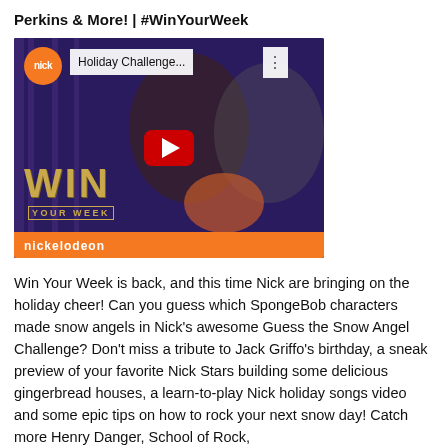Perkins & More! | #WinYourWeek
[Figure (screenshot): Nickelodeon YouTube video thumbnail for Holiday Challenge featuring two teenagers and the Win Your Week branding, with Nickelodeon orange logo and play button]
Win Your Week is back, and this time Nick are bringing on the holiday cheer! Can you guess which SpongeBob characters made snow angels in Nick's awesome Guess the Snow Angel Challenge? Don't miss a tribute to Jack Griffo's birthday, a sneak preview of your favorite Nick Stars building some delicious gingerbread houses, a learn-to-play Nick holiday songs video and some epic tips on how to rock your next snow day! Catch more Henry Danger, School of Rock, Knight Squad, the Thunder...